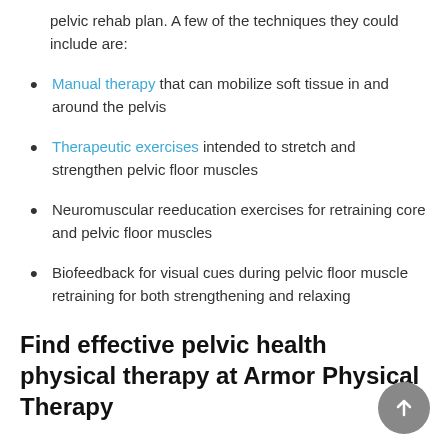pelvic rehab plan. A few of the techniques they could include are:
Manual therapy that can mobilize soft tissue in and around the pelvis
Therapeutic exercises intended to stretch and strengthen pelvic floor muscles
Neuromuscular reeducation exercises for retraining core and pelvic floor muscles
Biofeedback for visual cues during pelvic floor muscle retraining for both strengthening and relaxing
Find effective pelvic health physical therapy at Armor Physical Therapy